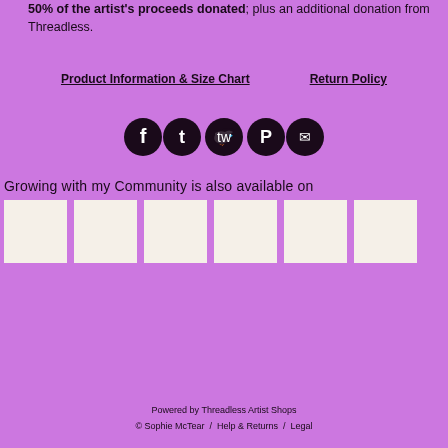50% of the artist's proceeds donated; plus an additional donation from Threadless.
Product Information & Size Chart   Return Policy
[Figure (infographic): Row of 5 dark circular social media icons: Facebook, Tumblr, Twitter, Pinterest, Email]
Growing with my Community is also available on
[Figure (infographic): Row of 6 white/cream square product thumbnails]
Powered by Threadless Artist Shops  © Sophie McTear  /  Help & Returns  /  Legal